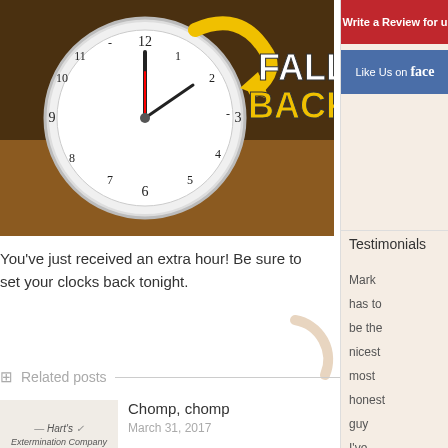[Figure (photo): Clock with yellow arrow pointing backward and 'FALL BACK' text overlaid on autumn background]
You've just received an extra hour! Be sure to set your clocks back tonight.
Related posts
[Figure (photo): Hart's Extermination Company Special Coupon thumbnail]
Chomp, chomp
March 31, 2017
[Figure (photo): Hart's Extermination Company thumbnail for second related post]
Time to get
Write a Review for u
Like Us on face
Testimonials
Mark has to be the nicest most honest guy I've ever met. He has